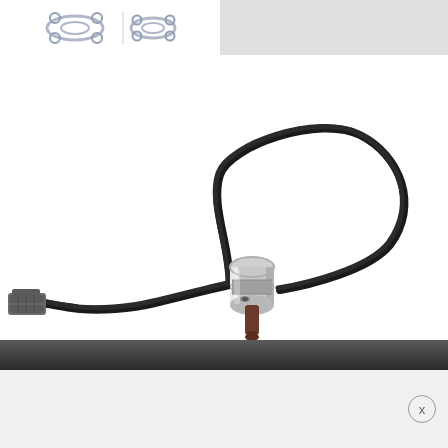[Figure (photo): Product photo of an oxygen sensor (lambda sensor) with a chrome/silver metallic body, a dark brown ceramic tip at the bottom, and a long black wire cable looping upward and ending in a gray rectangular electrical connector on the left side. White background.]
[Figure (photo): Small partial image in the top-left corner showing what appears to be a gasket or sealing ring component — a metal part with circular bolt holes, partially cut off.]